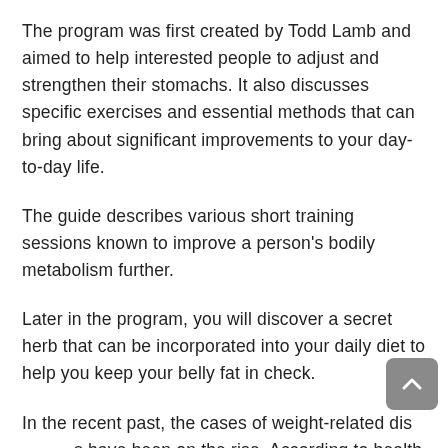The program was first created by Todd Lamb and aimed to help interested people to adjust and strengthen their stomachs. It also discusses specific exercises and essential methods that can bring about significant improvements to your day-to-day life.
The guide describes various short training sessions known to improve a person's bodily metabolism further.
Later in the program, you will discover a secret herb that can be incorporated into your daily diet to help you keep your belly fat in check.
In the recent past, the cases of weight-related diseases have been on the rise. According to health experts, people's lifestyles are to blame for the sudden